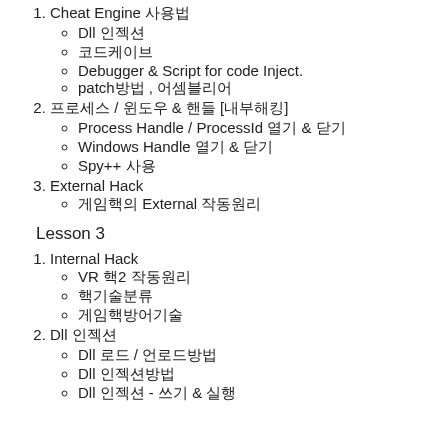1. Cheat Engine 사용법
Dll 인젝션
코드케이브
Debugger & Script for code Inject.
patch방법 , 어셈블리어
2. 프로세스 / 윈도우 & 핸들 [내부해킹]
Process Handle / ProcessId 열기 & 닫기
Windows Handle 열기 & 닫기
Spy++ 사용
3. External Hack
게임핵의 External 작동원리
Lesson 3
1. Internal Hack
VR 핵2 작동원리
핵기술분류
게임핵방어기술
2. Dll 인젝션
Dll 로드 / 언로드방법
Dll 인젝션방법
Dll 인젝션 - 쓰기 & 실행